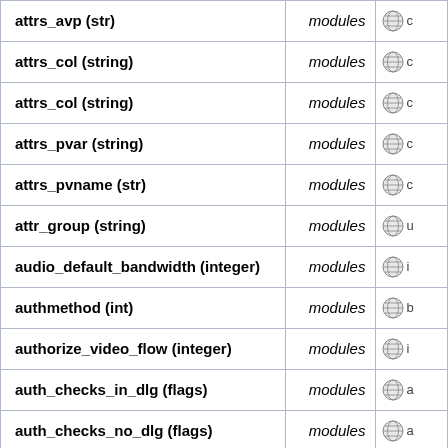|  | modules |  |
| --- | --- | --- |
| attrs_avp (str) | modules | c |
| attrs_col (string) | modules | c |
| attrs_col (string) | modules | c |
| attrs_pvar (string) | modules | c |
| attrs_pvname (str) | modules | c |
| attr_group (string) | modules | u |
| audio_default_bandwidth (integer) | modules | i |
| authmethod (int) | modules | b |
| authorize_video_flow (integer) | modules | i |
| auth_checks_in_dlg (flags) | modules | a |
| auth_checks_no_dlg (flags) | modules | a |
| auth_checks_register (flags) | modules | a |
| auth_data_hash_size (integer) | modules | i |
| auth_data_timeout (int) | modules | i |